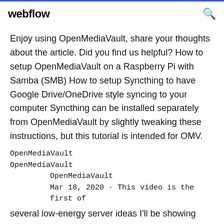webflow
Enjoy using OpenMediaVault, share your thoughts about the article. Did you find us helpful? How to setup OpenMediaVault on a Raspberry Pi with Samba (SMB) How to setup Syncthing to have Google Drive/OneDrive style syncing to your computer Syncthing can be installed separately from OpenMediaVault by slightly tweaking these instructions, but this tutorial is intended for OMV.
OpenMediaVault
OpenMediaVault
OpenMediaVault
Mar 18, 2020 · This video is the first of several low-energy server ideas I'll be showing off. This ti...